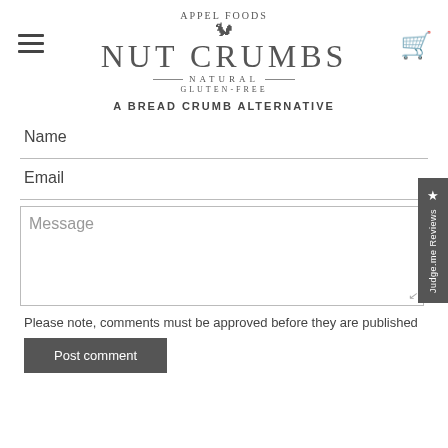[Figure (logo): Appel Foods Nut Crumbs Natural Gluten-Free logo with squirrel icon and tagline 'A Bread Crumb Alternative']
Name
Email
Message
Please note, comments must be approved before they are published
[Figure (screenshot): Judge.me Reviews sidebar tab on right edge]